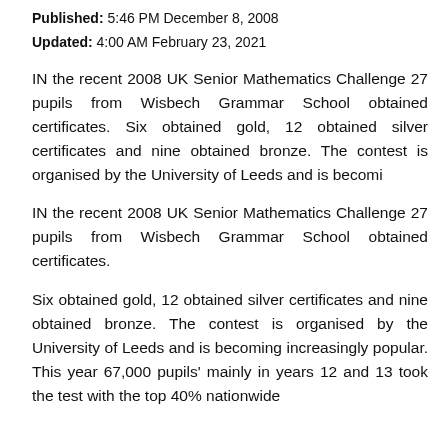Published: 5:46 PM December 8, 2008
Updated: 4:00 AM February 23, 2021
IN the recent 2008 UK Senior Mathematics Challenge 27 pupils from Wisbech Grammar School obtained certificates. Six obtained gold, 12 obtained silver certificates and nine obtained bronze. The contest is organised by the University of Leeds and is becomi
IN the recent 2008 UK Senior Mathematics Challenge 27 pupils from Wisbech Grammar School obtained certificates.
Six obtained gold, 12 obtained silver certificates and nine obtained bronze. The contest is organised by the University of Leeds and is becoming increasingly popular. This year 67,000 pupils' mainly in years 12 and 13 took the test with the top 40% nationwide